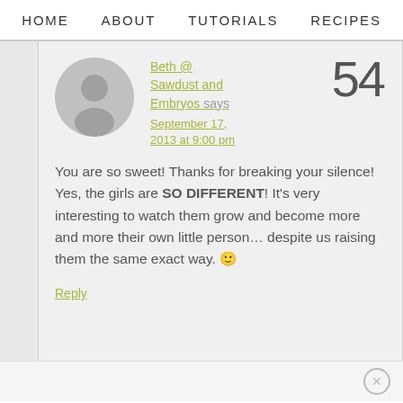HOME   ABOUT   TUTORIALS   RECIPES
Beth @ Sawdust and Embryos says
September 17, 2013 at 9:00 pm
54
You are so sweet! Thanks for breaking your silence! Yes, the girls are SO DIFFERENT! It's very interesting to watch them grow and become more and more their own little person... despite us raising them the same exact way. 🙂
Reply